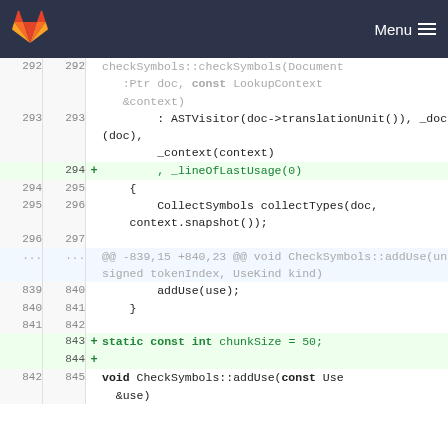GitLab — Menu
[Figure (screenshot): Code diff view showing C++ source code with line numbers. Added lines highlighted in green. Diff includes CheckSymbols constructor initializer list, CollectSymbols call, addUse function body, and new static const int chunkSize = 50 addition.]